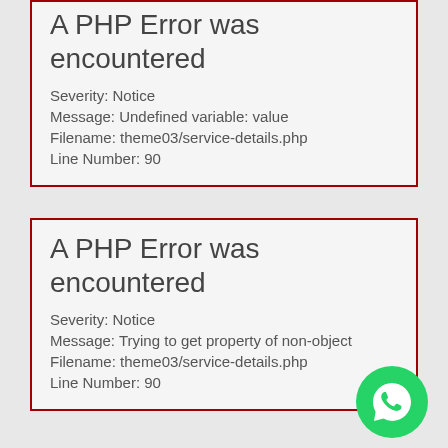A PHP Error was encountered
Severity: Notice
Message: Undefined variable: value
Filename: theme03/service-details.php
Line Number: 90
A PHP Error was encountered
Severity: Notice
Message: Trying to get property of non-object
Filename: theme03/service-details.php
Line Number: 90
[Figure (illustration): Green circular WhatsApp button icon in bottom right corner]